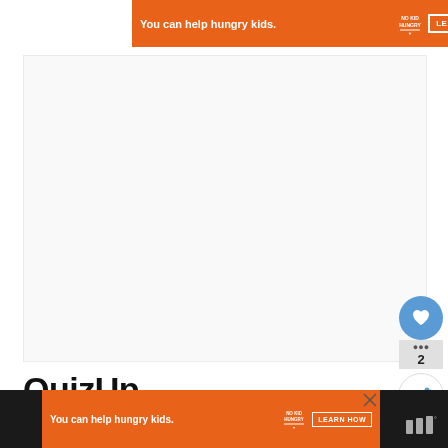[Figure (screenshot): Orange advertisement banner at top: 'You can help hungry kids.' with No Kid Hungry logo and LEARN HOW button, close X in corner]
[Figure (screenshot): Large white/light grey empty content area below top ad]
QuizUp
[Figure (infographic): Blue circular heart/like button with count 2 and share button floating on right side]
[Figure (screenshot): Bottom dark bar with orange advertisement: 'You can help hungry kids.' with No Kid Hungry logo and LEARN HOW button, close X, and white icon on far right]